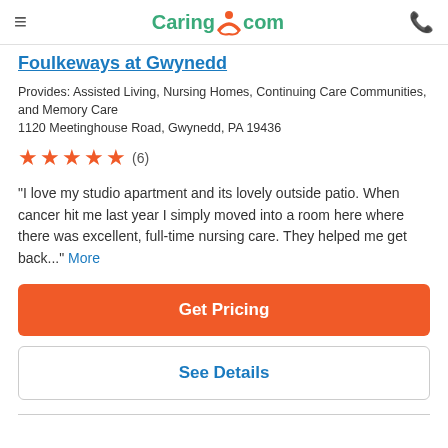Caring.com header with navigation hamburger menu and phone icon
Foulkeways at Gwynedd
Provides: Assisted Living, Nursing Homes, Continuing Care Communities, and Memory Care
1120 Meetinghouse Road, Gwynedd, PA 19436
[Figure (infographic): Five orange star rating icons followed by (6) review count]
"I love my studio apartment and its lovely outside patio. When cancer hit me last year I simply moved into a room here where there was excellent, full-time nursing care. They helped me get back..." More
Get Pricing
See Details